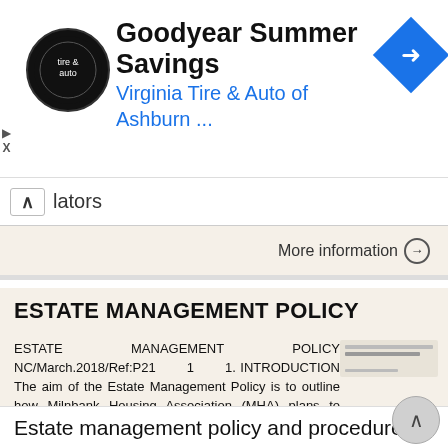[Figure (screenshot): Advertisement banner: Goodyear Summer Savings — Virginia Tire & Auto of Ashburn ... with circular logo and blue navigation diamond icon]
▲  lators
More information →
ESTATE MANAGEMENT POLICY
ESTATE MANAGEMENT POLICY NC/March.2018/Ref:P21 1 1. INTRODUCTION The aim of the Estate Management Policy is to outline how Milnbank Housing Association (MHA) plans to effectively manage our neighbourhoods.
More information →
Estate management policy and procedures